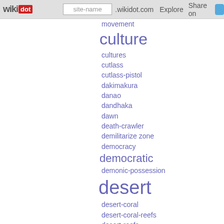wikidot | site-name .wikidot.com | Explore | Share on
movement
culture
cultures
cutlass
cutlass-pistol
dakimakura
danao
dandhaka
dawn
death-crawler
demilitarize zone
democracy
democratic
demonic-possession
desert
desert-coral
desert-coral-reefs
desert-reefs
dictatorship
difference-